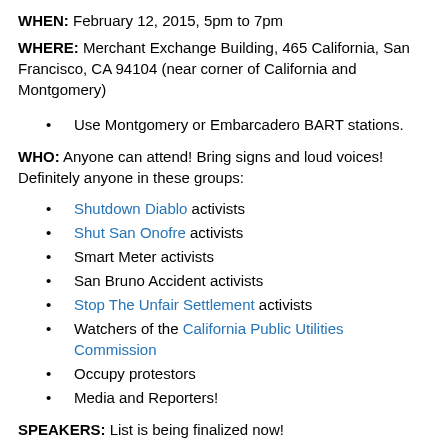WHEN: February 12, 2015, 5pm to 7pm
WHERE: Merchant Exchange Building, 465 California, San Francisco, CA 94104 (near corner of California and Montgomery)
Use Montgomery or Embarcadero BART stations.
WHO: Anyone can attend! Bring signs and loud voices! Definitely anyone in these groups:
Shutdown Diablo activists
Shut San Onofre activists
Smart Meter activists
San Bruno Accident activists
Stop The Unfair Settlement activists
Watchers of the California Public Utilities Commission
Occupy protestors
Media and Reporters!
SPEAKERS: List is being finalized now!
Michael Aguirre (former SD City Attorney) - in charge of federal lawsuits regarding San Onofre Bailout...